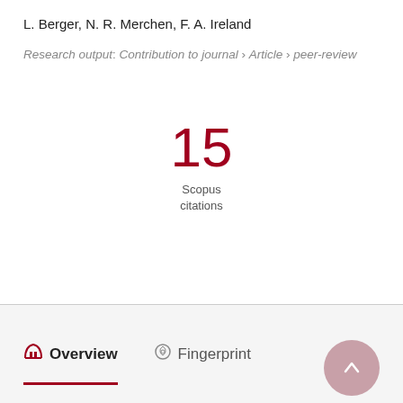L. Berger, N. R. Merchen, F. A. Ireland
Research output: Contribution to journal › Article › peer-review
15
Scopus
citations
Overview   Fingerprint